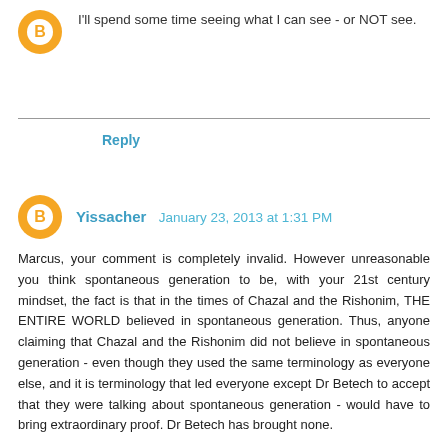I'll spend some time seeing what I can see - or NOT see.
Reply
Yissacher January 23, 2013 at 1:31 PM
Marcus, your comment is completely invalid. However unreasonable you think spontaneous generation to be, with your 21st century mindset, the fact is that in the times of Chazal and the Rishonim, THE ENTIRE WORLD believed in spontaneous generation. Thus, anyone claiming that Chazal and the Rishonim did not believe in spontaneous generation - even though they used the same terminology as everyone else, and it is terminology that led everyone except Dr Betech to accept that they were talking about spontaneous generation - would have to bring extraordinary proof. Dr Betech has brought none.
Incidentally, Dr. Betech's comment about "Rishonim who speak about eggs of lice" is irrelevant, for a similar reason